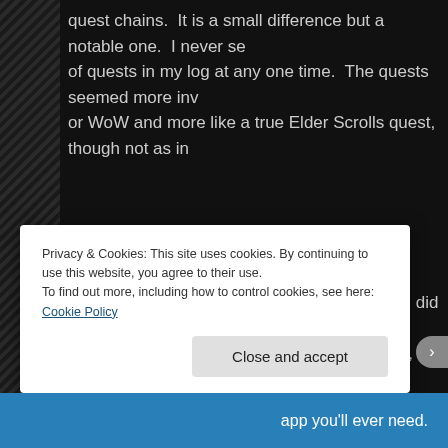quest chains.  It is a small difference but a notable one.  I never se of quests in my log at any one time.  The quests seemed more inv or WoW and more like a true Elder Scrolls quest, though not as in
Did I enjoy the change?  I would have to say I did once I hit level 1 of the zone was stifling but once it opened up, I came to enjoy the room for exploration.
Privacy & Cookies: This site uses cookies. By continuing to use this website, you agree to their use.
To find out more, including how to control cookies, see here: Cookie Policy
Close and accept
app you'll ever need.